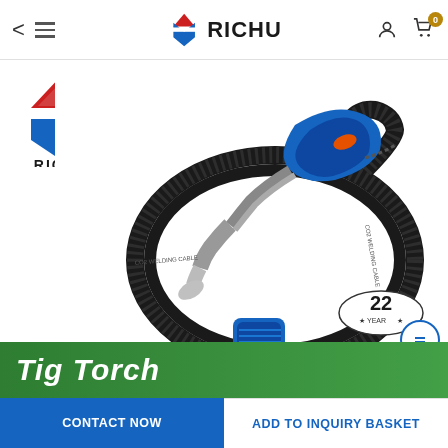RICHU - navigation bar with back arrow, menu, logo, user icon, cart (0)
[Figure (logo): RICHU brand logo - red and blue shield/diamond shape with RICHU text below]
[Figure (photo): MIG/MAG welding torch (TIG Torch) with blue handle, orange trigger, black coiled hose, blue connector, and gold bayonet fitting. Coiled black welding cable. RICHU branded product.]
[Figure (illustration): 22 YEAR badge - oval shape with '22' in bold and 'YEAR' text with star decorations]
Tig Torch
CONTACT NOW | ADD TO INQUIRY BASKET